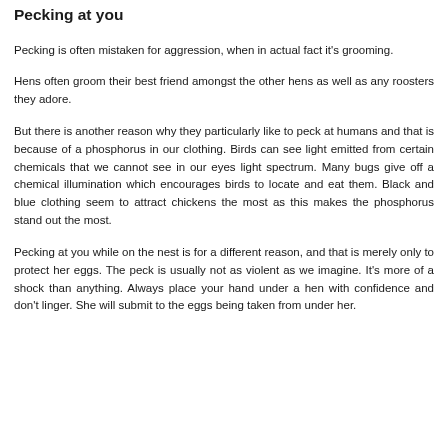Pecking at you
Pecking is often mistaken for aggression, when in actual fact it's grooming.
Hens often groom their best friend amongst the other hens as well as any roosters they adore.
But there is another reason why they particularly like to peck at humans and that is because of a phosphorus in our clothing. Birds can see light emitted from certain chemicals that we cannot see in our eyes light spectrum. Many bugs give off a chemical illumination which encourages birds to locate and eat them. Black and blue clothing seem to attract chickens the most as this makes the phosphorus stand out the most.
Pecking at you while on the nest is for a different reason, and that is merely only to protect her eggs. The peck is usually not as violent as we imagine. It's more of a shock than anything. Always place your hand under a hen with confidence and don't linger. She will submit to the eggs being taken from under her.